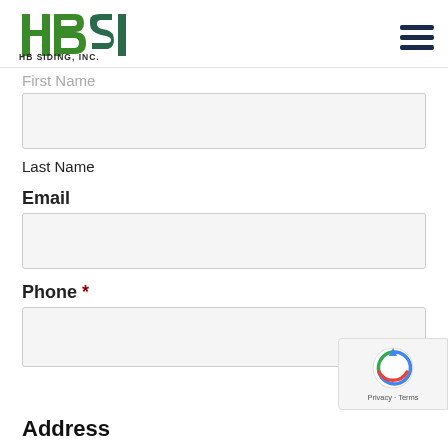[Figure (logo): HB Siding Inc. logo with green stylized HBSI letters and text 'HB SIDING, INC.' below]
First Name
Last Name
Email
Phone *
Address